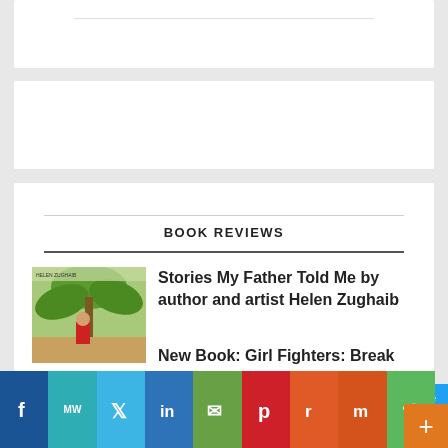BOOK REVIEWS
[Figure (illustration): Book cover thumbnail for 'Stories My Father Told Me' showing painted tropical/garden scene with figures]
Stories My Father Told Me by author and artist Helen Zughaib
November 1, 2021
New Book: Girl Fighters: Break Tradition in Yemen
October 25, 2021
[Figure (infographic): Social media sharing bar with buttons: Facebook, MeWe, Twitter, LinkedIn, Email, Pinterest, Reddit, Mix, WhatsApp]